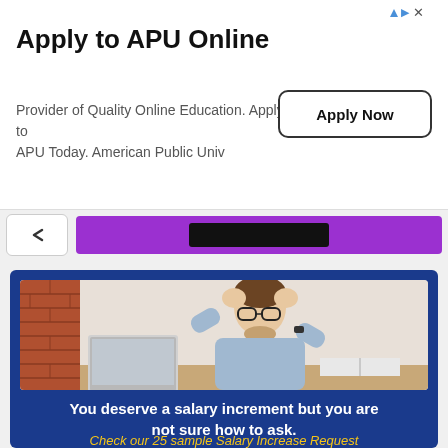[Figure (screenshot): Advertisement banner for APU Online with 'Apply Now' button, navigation bar with purple element, main blue card showing stressed man at laptop with salary increment text]
Apply to APU Online
Provider of Quality Online Education. Apply to APU Today. American Public Univ
Apply Now
You deserve a salary increment but you are not sure how to ask.
Check our 25 sample Salary Increase Request